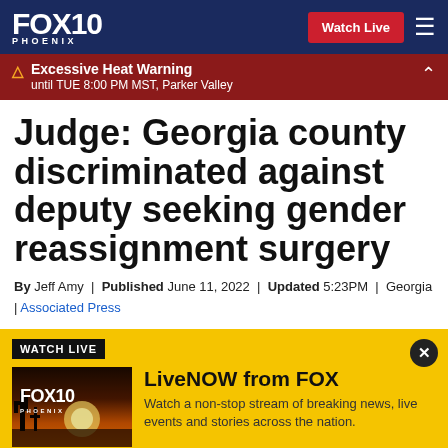FOX 10 PHOENIX — Watch Live
⚠ Excessive Heat Warning until TUE 8:00 PM MST, Parker Valley
Judge: Georgia county discriminated against deputy seeking gender reassignment surgery
By Jeff Amy | Published June 11, 2022 | Updated 5:23PM | Georgia | Associated Press
[Figure (screenshot): Watch Live banner with FOX 10 Phoenix LiveNOW thumbnail and promotional text]
WATCH LIVE — LiveNOW from FOX — Watch a non-stop stream of breaking news, live events and stories across the nation.